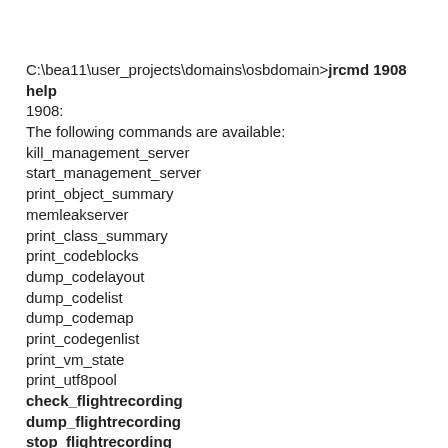C:\bea11\user_projects\domains\osbdomain>jrcmd 1908 help
1908:
The following commands are available:
kill_management_server
start_management_server
print_object_summary
memleakserver
print_class_summary
print_codeblocks
dump_codelayout
dump_codelist
dump_codemap
print_codegenlist
print_vm_state
print_utf8pool
check_flightrecording
dump_flightrecording
stop_flightrecording